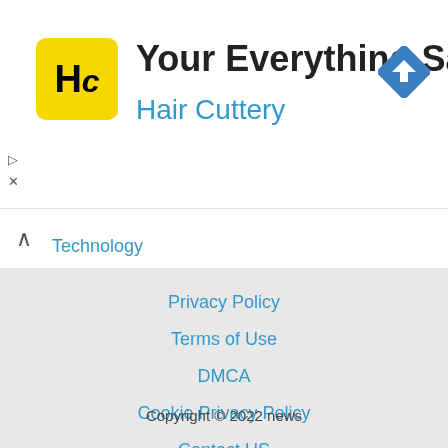[Figure (logo): Hair Cuttery HC logo in yellow rounded square with advertisement: 'Your Everything Salon' and map direction icon]
Your Everything Salon
Hair Cuttery
Technology
Privacy Policy
Terms of Use
DMCA
Cookie Privacy Policy
Contact US
About Us
Copyright © 2022 news